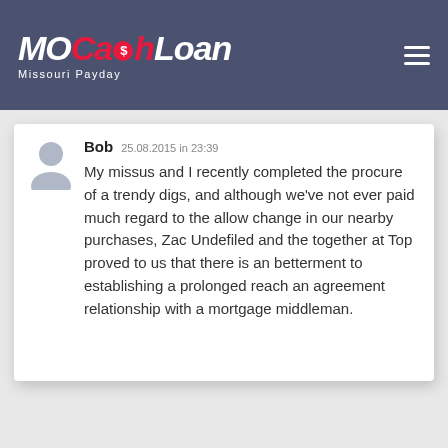[Figure (logo): MoCashLoan Missouri Payday logo in white and red on dark blue-grey header background]
Bob  25.08.2015 in 23:39
My missus and I recently completed the procure of a trendy digs, and although we've not ever paid much regard to the allow change in our nearby purchases, Zac Undefiled and the together at Top proved to us that there is an betterment to establishing a prolonged reach an agreement relationship with a mortgage middleman.